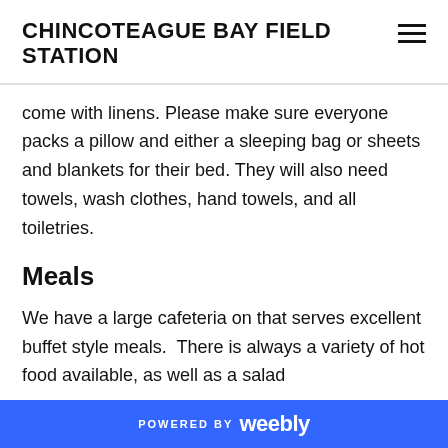CHINCOTEAGUE BAY FIELD STATION
come with linens. Please make sure everyone packs a pillow and either a sleeping bag or sheets and blankets for their bed. They will also need towels, wash clothes, hand towels, and all toiletries.
Meals
We have a large cafeteria on that serves excellent buffet style meals.  There is always a variety of hot food available, as well as a salad
POWERED BY weebly